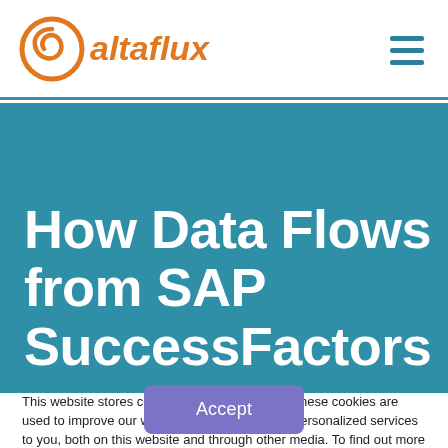altaflux
How Data Flows from SAP SuccessFactors
This website stores cookies on your computer. These cookies are used to improve our website and provide more personalized services to you, both on this website and through other media. To find out more about the cookies we use, see our Privacy Policy.
Accept